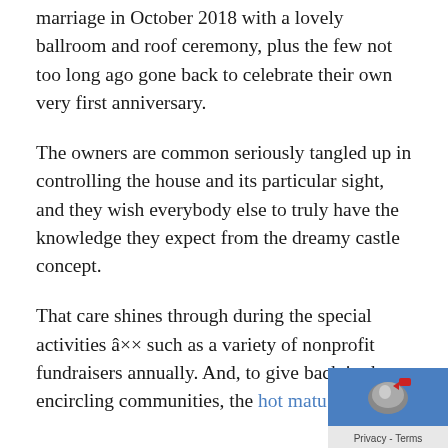marriage in October 2018 with a lovely ballroom and roof ceremony, plus the few not too long ago gone back to celebrate their own very first anniversary.
The owners are common seriously tangled up in controlling the house and its particular sight, and they wish everybody else to truly have the knowledge they expect from the dreamy castle concept.
That care shines through during the special activities â×× such as a variety of nonprofit fundraisers annually. And, to give back in the encircling communities, the hot matu…